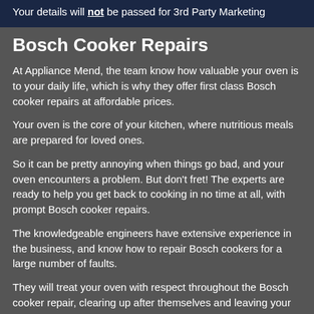Your details will not be passed for 3rd Party Marketing
Bosch Cooker Repairs
At Appliance Mend, the team know how valuable your oven is to your daily life, which is why they offer first class Bosch cooker repairs at affordable prices.
Your oven is the core of your kitchen, where nutritious meals are prepared for loved ones.
So it can be pretty annoying when things go bad, and your oven encounters a problem. But don't fret! The experts are ready to help you get back to cooking in no time at all, with prompt Bosch cooker repairs.
The knowledgeable engineers have extensive experience in the business, and know how to repair Bosch cookers for a large number of faults.
They will treat your oven with respect throughout the Bosch cooker repair, clearing up after themselves and leaving your home spotless too.